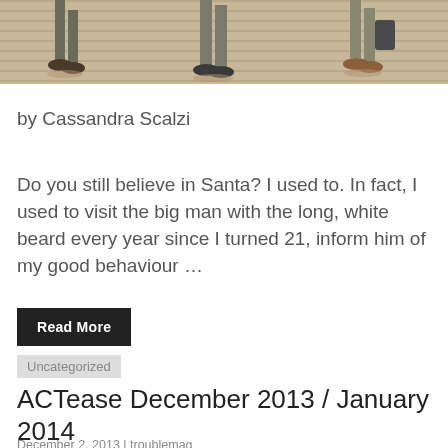[Figure (photo): Cropped photo showing people walking on a wooden boardwalk or deck, seen from legs/lower body level, with shadows visible on the ground.]
by Cassandra Scalzi
Do you still believe in Santa? I used to. In fact, I used to visit the big man with the long, white beard every year since I turned 21, inform him of my good behaviour …
Read More
Uncategorized
ACTease December 2013 / January 2014
December 2, 2013 | troublemag